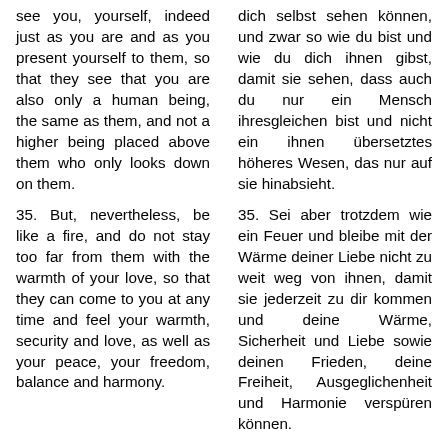see you, yourself, indeed just as you are and as you present yourself to them, so that they see that you are also only a human being, the same as them, and not a higher being placed above them who only looks down on them.
35. But, nevertheless, be like a fire, and do not stay too far from them with the warmth of your love, so that they can come to you at any time and feel your warmth, security and love, as well as your peace, your freedom, balance and harmony.
dich selbst sehen können, und zwar so wie du bist und wie du dich ihnen gibst, damit sie sehen, dass auch du nur ein Mensch ihresgleichen bist und nicht ein ihnen übersetztes höheres Wesen, das nur auf sie hinabsieht.
35. Sei aber trotzdem wie ein Feuer und bleibe mit der Wärme deiner Liebe nicht zu weit weg von ihnen, damit sie jederzeit zu dir kommen und deine Wärme, Sicherheit und Liebe sowie deinen Frieden, deine Freiheit, Ausgeglichenheit und Harmonie verspüren können.